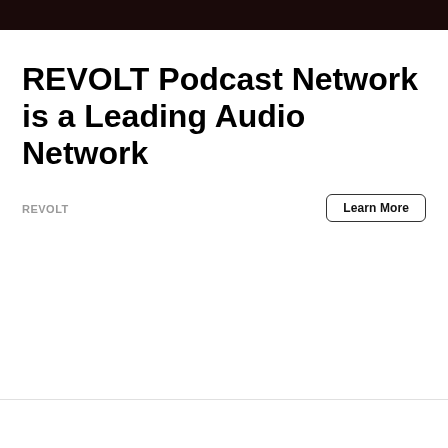[Figure (photo): Dark banner image at top of page, mostly black/dark red tones]
REVOLT Podcast Network is a Leading Audio Network
REVOLT
Learn More